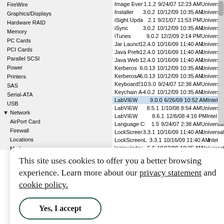[Figure (screenshot): macOS System Profiler window showing Applications list in Software section. Sidebar shows hardware and software categories with 'Applications' selected. Main panel lists apps including Image Events, Installer, iSight Updater, iSync, iTunes, Jar Launcher, Java Preferences, Java Web Start, Kerberos, KerberosAgent, KeyboardSetupAssistant, Keychain Access, LabVIEW (multiple versions), Language Chooser, LockScreen, LockScreenLeopard386, loginwindow, lsdaq, lsane. Detail panel shows Activity Monitor info: Version 10.5, Last Modified 10/12/09 10:35 AM, Kind Universal, Get Info String 10.5 2002-2007 Apple Computer Inc., Location /Applications/Utilities/Activity Monitor.app]
This site uses cookies to offer you a better browsing experience. Learn more about our privacy statement and cookie policy.